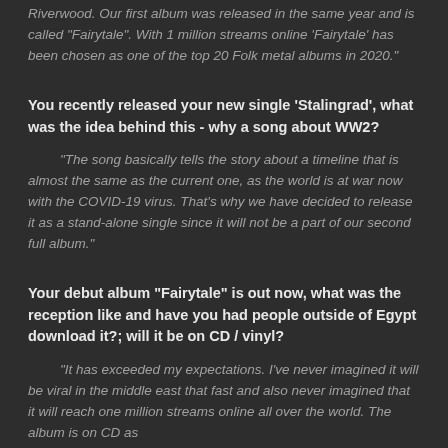Riverwood. Our first album was released in the same year and is called "Fairytale". With 1 million streams online 'Fairytale' has been chosen as one of the top 20 Folk metal albums in 2020."
You recently released your new single 'Stalingrad', what was the idea behind this - why a song about WW2?
"The song basically tells the story about a timeline that is almost the same as the current one, as the world is at war now with the COVID-19 virus. That's why we have decided to release it as a stand-alone single since it will not be a part of our second full album."
Your debut album "Fairytale" is out now, what was the reception like and have you had people outside of Egypt download it?; will it be on CD / vinyl?
"It has exceeded my expectations. I've never imagined it will be viral in the middle east that fast and also never imagined that it will reach one million streams online all over the world. The album is on CD as